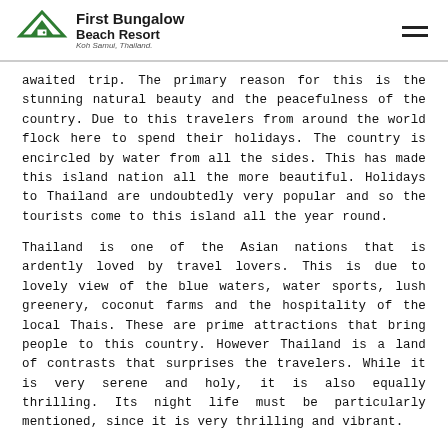First Bungalow Beach Resort — Koh Samui, Thailand.
awaited trip. The primary reason for this is the stunning natural beauty and the peacefulness of the country. Due to this travelers from around the world flock here to spend their holidays. The country is encircled by water from all the sides. This has made this island nation all the more beautiful. Holidays to Thailand are undoubtedly very popular and so the tourists come to this island all the year round.
Thailand is one of the Asian nations that is ardently loved by travel lovers. This is due to lovely view of the blue waters, water sports, lush greenery, coconut farms and the hospitality of the local Thais. These are prime attractions that bring people to this country. However Thailand is a land of contrasts that surprises the travelers. While it is very serene and holy, it is also equally thrilling. Its night life must be particularly mentioned, since it is very thrilling and vibrant.